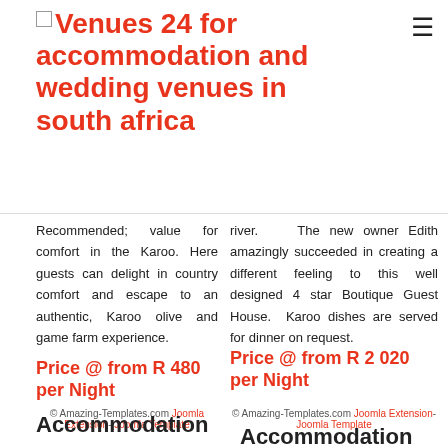Venues 24 for accommodation and wedding venues in south africa
Recommended; value for comfort in the Karoo. Here guests can delight in country comfort and escape to an authentic, Karoo olive and game farm experience.
river.    The new owner Edith amazingly succeeded in creating a different feeling to this well designed 4 star Boutique Guest House.  Karoo dishes are served for dinner on request.
Price @ from R 480 per Night
Price @ from R 2 020 per Night
© Amazing-Templates.com Joomla Extension- Joomla Template
© Amazing-Templates.com Joomla Extension- Joomla Template
Accommodation
Accommodation